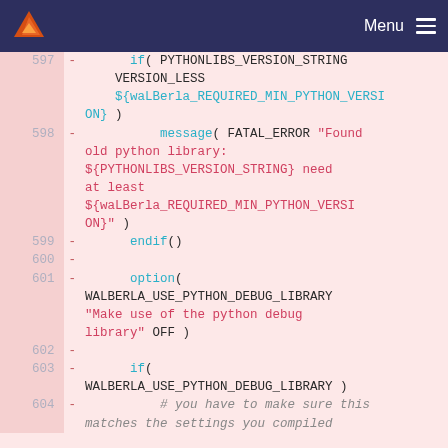Menu
[Figure (screenshot): Code diff view showing CMake code lines 597-604 with removed lines (red background). Lines include Python version checks, message() for FATAL_ERROR, endif(), option() for WALBERLA_USE_PYTHON_DEBUG_LIBRARY, if() check for that option, and a comment about python debug library settings.]